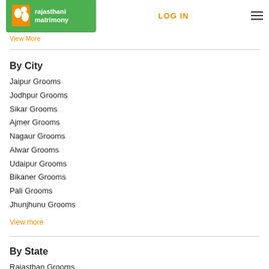rajasthani matrimony | LOG IN
View More
By City
Jaipur Grooms
Jodhpur Grooms
Sikar Grooms
Ajmer Grooms
Nagaur Grooms
Alwar Grooms
Udaipur Grooms
Bikaner Grooms
Pali Grooms
Jhunjhunu Grooms
View more
By State
Rajasthan Grooms
Delhi Grooms
Gujarat Grooms